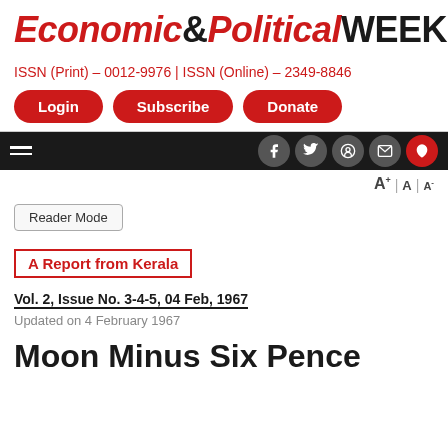Economic&Political WEEKLY
ISSN (Print) - 0012-9976 | ISSN (Online) - 2349-8846
Login
Subscribe
Donate
Reader Mode
A Report from Kerala
Vol. 2, Issue No. 3-4-5, 04 Feb, 1967
Updated on 4 February 1967
Moon Minus Six Pence